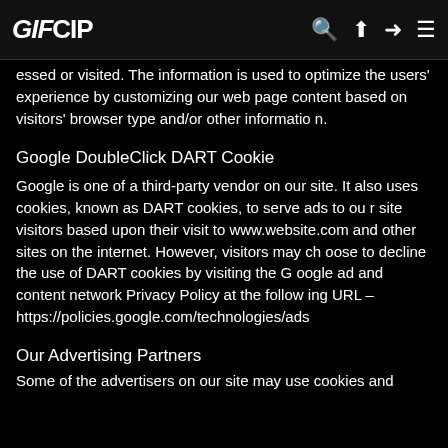GIFCIP
essed or visited. The information is used to optimize the users' experience by customizing our web page content based on visitors' browser type and/or other information.
Google DoubleClick DART Cookie
Google is one of a third-party vendor on our site. It also uses cookies, known as DART cookies, to serve ads to our site visitors based upon their visit to www.website.com and other sites on the internet. However, visitors may choose to decline the use of DART cookies by visiting the Google ad and content network Privacy Policy at the following URL – https://policies.google.com/technologies/ads
Our Advertising Partners
Some of the advertisers on our site may use cookies and